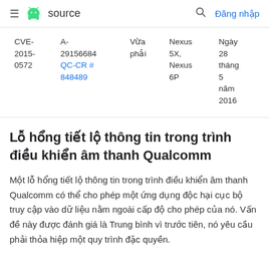≡ [Android] source   🔍 Đăng nhập
| CVE | A- | Vừa phải | Nexus | Ngày |
| --- | --- | --- | --- | --- |
| CVE-2015-0572 | A-29156684 QC-CR #848489 | Vừa phải | Nexus 5X, Nexus 6P | Ngày 28 tháng 5 năm 2016 |
Lỗ hổng tiết lộ thông tin trong trình điều khiển âm thanh Qualcomm
Một lỗ hổng tiết lộ thông tin trong trình điều khiển âm thanh Qualcomm có thể cho phép một ứng dụng độc hại cục bộ truy cập vào dữ liệu nằm ngoài cấp độ cho phép của nó. Vấn đề này được đánh giá là Trung bình vì trước tiên, nó yêu cầu phải thỏa hiệp một quy trình đặc quyền.